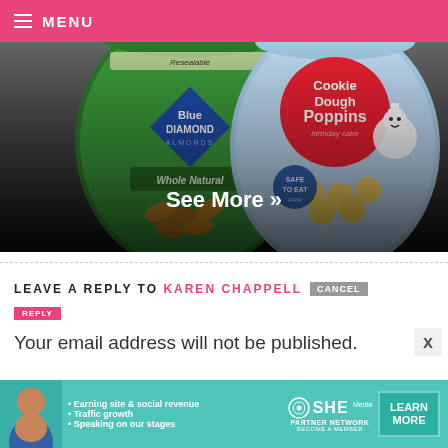MENU
[Figure (photo): Product photo collage showing Blue Diamond Whole Natural Almonds bag on left and Pillsbury Cookie Dough Poppins birthday cake bag on right, with dark gradient overlay and 'See More »' text overlay]
See More »
LEAVE A REPLY TO KAREN CHAPPELL CANCEL REPLY
Your email address will not be published.
[Figure (photo): SHE Partner Network advertisement banner in teal with bullet points: Earning site & social revenue, Traffic growth, Speaking on our stages. Includes SHE logo, LEARN MORE button, BECOME A MEMBER text.]